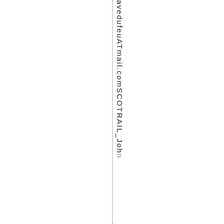avedufeuATmail.comSCOTRAIL_John